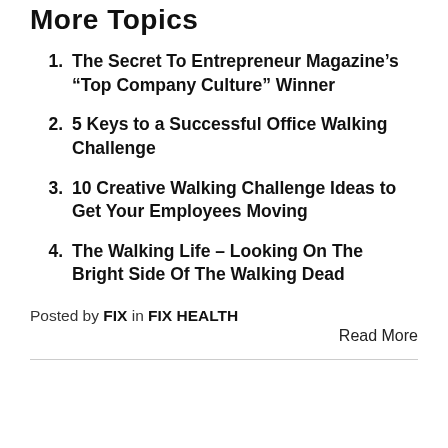More Topics
The Secret To Entrepreneur Magazine's “Top Company Culture” Winner
5 Keys to a Successful Office Walking Challenge
10 Creative Walking Challenge Ideas to Get Your Employees Moving
The Walking Life – Looking On The Bright Side Of The Walking Dead
Posted by FIX in FIX HEALTH
Read More